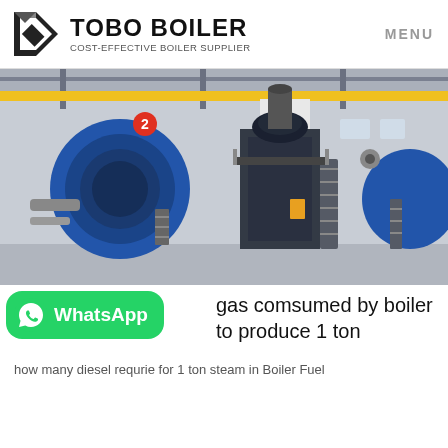TOBO BOILER — COST-EFFECTIVE BOILER SUPPLIER — MENU
[Figure (photo): Industrial boiler room with large blue fire-tube boilers on a concrete floor, with yellow structural supports, walkways, and access stairs inside a factory building.]
gas comsumed by boiler to produce 1 ton
how many diesel requrie for 1 ton steam in Boiler Fuel